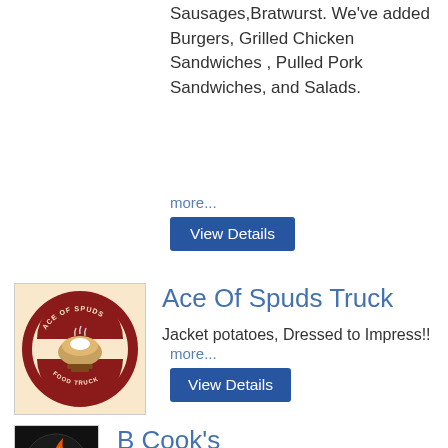Sausages,Bratwurst. We've added Burgers, Grilled Chicken Sandwiches , Pulled Pork Sandwiches, and Salads.
more...
View Details
[Figure (logo): Ace of Spuds food truck circular logo with baked potato illustration on peach/orange background]
Ace Of Spuds Truck
Jacket potatoes, Dressed to Impress!!
more...
View Details
[Figure (logo): B Cook's food truck circular logo with orange flame design on black background]
B Cook's
Food Type: Seafood, Burgers, Chicken